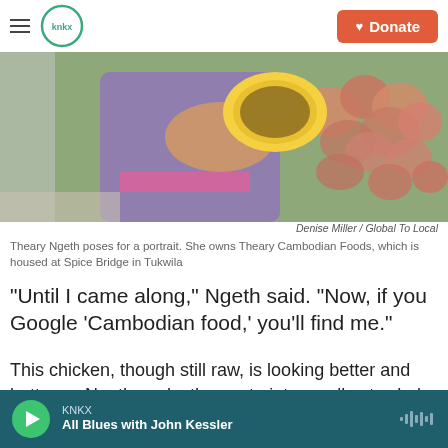KNKX | Donate
[Figure (photo): Person in colorful floral dress holding a yellow plate of food, with pink flowers in the background]
Denise Miller / Global To Local
Theary Ngeth poses for a portrait. She owns Theary Cambodian Foods, which is housed at Spice Bridge in Tukwila
“Until I came along,” Ngeth said. “Now, if you Google ‘Cambodian food,’ you’ll find me.”
This chicken, though still raw, is looking better and better as Ngeth works the paste into small cuts she’s made, and underneath the skin of the bird.
KNKX | All Blues with John Kessler